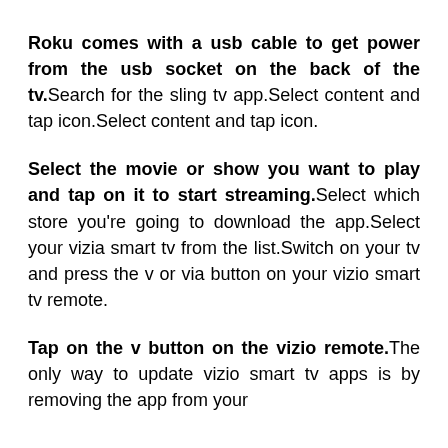Roku comes with a usb cable to get power from the usb socket on the back of the tv. Search for the sling tv app.Select content and tap icon.Select content and tap icon.
Select the movie or show you want to play and tap on it to start streaming. Select which store you're going to download the app.Select your vizia smart tv from the list.Switch on your tv and press the v or via button on your vizio smart tv remote.
Tap on the v button on the vizio remote. The only way to update vizio smart tv apps is by removing the app from your